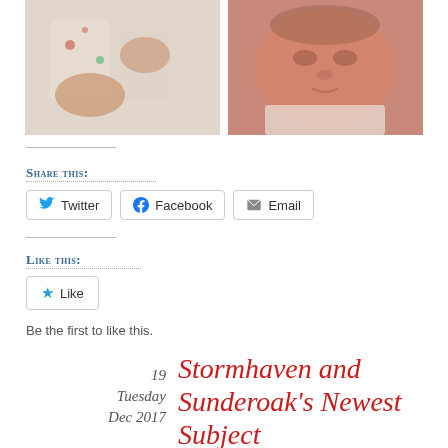[Figure (photo): Two cropped photos of a newborn baby side by side at the top of the page]
Share this:
Twitter  Facebook  Email
Like this:
Like
Be the first to like this.
19
Tuesday
Dec 2017
Stormhaven and Sunderoak's Newest Subject